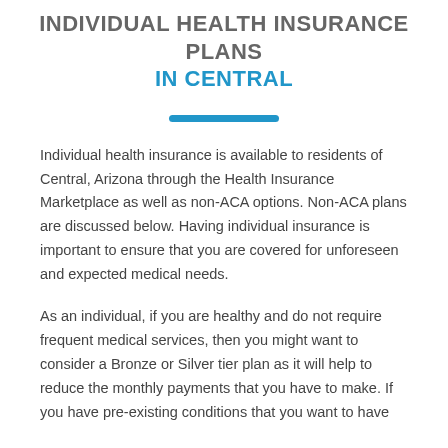INDIVIDUAL HEALTH INSURANCE PLANS IN CENTRAL
Individual health insurance is available to residents of Central, Arizona through the Health Insurance Marketplace as well as non-ACA options. Non-ACA plans are discussed below. Having individual insurance is important to ensure that you are covered for unforeseen and expected medical needs.
As an individual, if you are healthy and do not require frequent medical services, then you might want to consider a Bronze or Silver tier plan as it will help to reduce the monthly payments that you have to make. If you have pre-existing conditions that you want to have